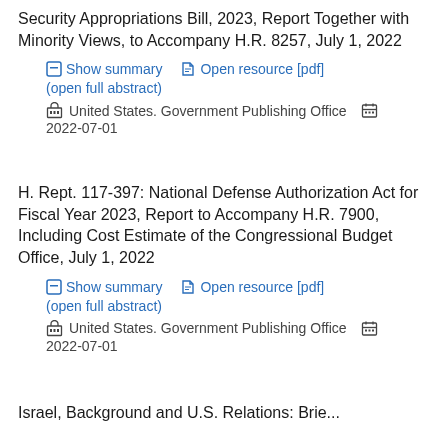Security Appropriations Bill, 2023, Report Together with Minority Views, to Accompany H.R. 8257, July 1, 2022
Show summary   Open resource [pdf]
(open full abstract)
🏛 United States. Government Publishing Office   📅
2022-07-01
H. Rept. 117-397: National Defense Authorization Act for Fiscal Year 2023, Report to Accompany H.R. 7900, Including Cost Estimate of the Congressional Budget Office, July 1, 2022
Show summary   Open resource [pdf]
(open full abstract)
🏛 United States. Government Publishing Office   📅
2022-07-01
Israel, Background and U.S. Relations: Brie...